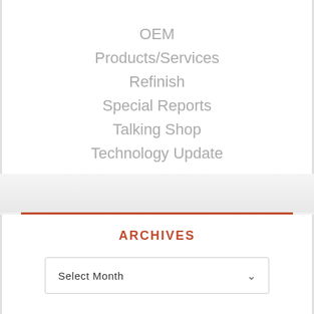OEM
Products/Services
Refinish
Special Reports
Talking Shop
Technology Update
ARCHIVES
Select Month